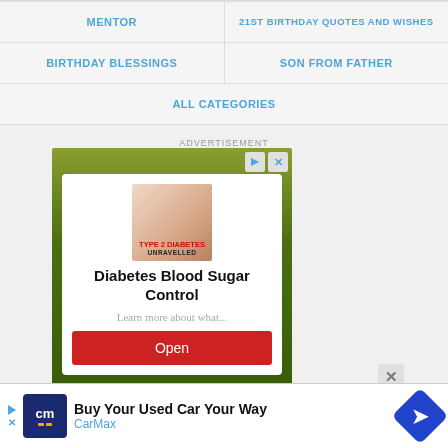MENTOR | 21ST BIRTHDAY QUOTES AND WISHES
BIRTHDAY BLESSINGS | SON FROM FATHER
ALL CATEGORIES
ADVERTISEMENT
[Figure (screenshot): Advertisement popup for 'Diabetes Blood Sugar Control' with an image labeled TYPE 2 DIABETES UNRAVELLED, subtext 'Learn more about what...', and a red Open button. Background is dark green gradient.]
[Figure (screenshot): Bottom banner ad for CarMax: 'Buy Your Used Car Your Way' with CarMax logo and blue diamond navigation icon.]